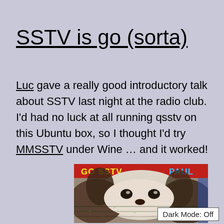SSTV is go (sorta)
Luc gave a really good introductory talk about SSTV last night at the radio club. I'd had no luck at all running qsstv on this Ubuntu box, so I thought I'd try MMSSTV under Wine … and it worked!
[Figure (screenshot): SSTV received image screenshot showing a creature (Gremlin-like) with red header bar reading 'GO SSTV' and 'PAUL' in blue text on the right side]
Dark Mode: Off